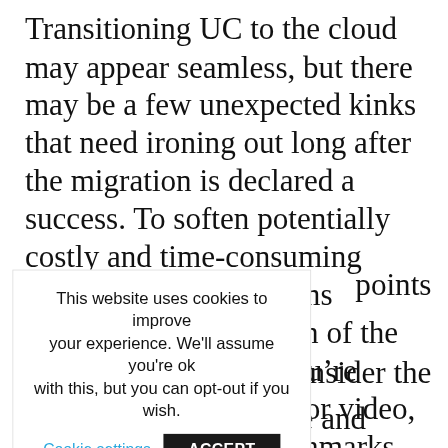Transitioning UC to the cloud may appear seamless, but there may be a few unexpected kinks that need ironing out long after the migration is declared a success. To soften potentially costly and time-consuming impacts, test the systems throughout the duration of the migration. Whether you're trying out voice, data, or video, conduct tests, set benchmarks for performance, and predict future usage patterns.
[Figure (screenshot): Cookie consent popup banner with text: 'This website uses cookies to improve your experience. We'll assume you're ok with this, but you can opt-out if you wish.' with a 'Cookie settings' link and an 'ACCEPT' button. Behind the banner, partially visible text shows 'points' and 'onsider the overall user experience and availability of support'.]